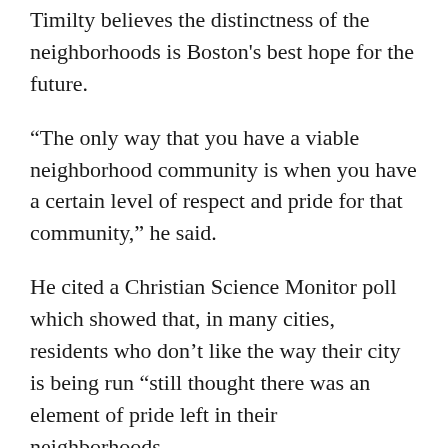Timilty believes the distinctness of the neighborhoods is Boston's best hope for the future.
“The only way that you have a viable neighborhood community is when you have a certain level of respect and pride for that community,” he said.
He cited a Christian Science Monitor poll which showed that, in many cities, residents who don’t like the way their city is being run “still thought there was an element of pride left in their neighborhoods.
“We ought to encourage that,” he added, “because it makes it more attractive to live.”
White also said he believes neighborhoods are a strong